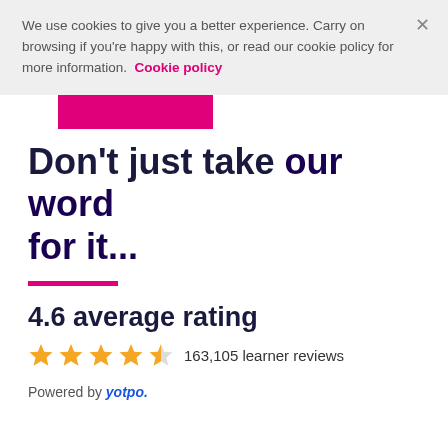We use cookies to give you a better experience. Carry on browsing if you're happy with this, or read our cookie policy for more information. Cookie policy
[Figure (other): Magenta/pink rectangular bar, partially visible, resembling a logo or banner element]
Don't just take our word for it...
4.6 average rating
[Figure (other): 4.6 out of 5 stars shown as star icons (4 full gold stars and 1 half gold star), followed by '163,105 learner reviews']
Powered by yotpo.